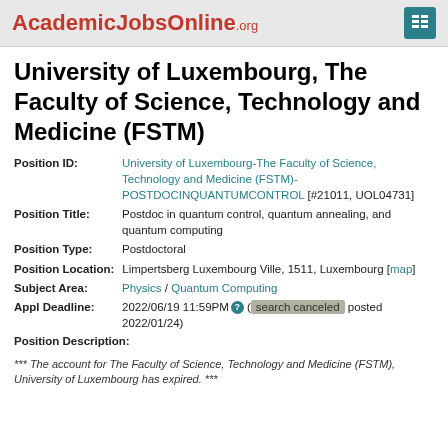AcademicJobsOnline.org
University of Luxembourg, The Faculty of Science, Technology and Medicine (FSTM)
| Field | Value |
| --- | --- |
| Position ID: | University of Luxembourg-The Faculty of Science, Technology and Medicine (FSTM)-POSTDOCINQUANTUMCONTROL [#21011, UOL04731] |
| Position Title: | Postdoc in quantum control, quantum annealing, and quantum computing |
| Position Type: | Postdoctoral |
| Position Location: | Limpertsberg Luxembourg Ville, 1511, Luxembourg [map] |
| Subject Area: | Physics / Quantum Computing |
| Appl Deadline: | 2022/06/19 11:59PM (search canceled posted 2022/01/24) |
| Position Description: |  |
*** The account for The Faculty of Science, Technology and Medicine (FSTM), University of Luxembourg has expired. ***